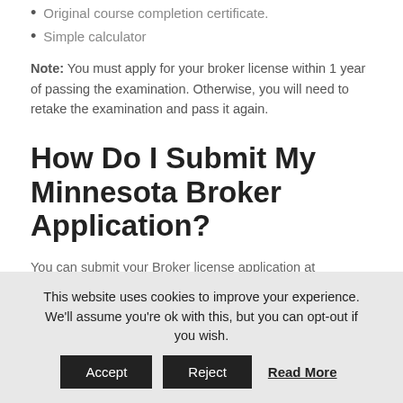Original course completion certificate.
Simple calculator
Note: You must apply for your broker license within 1 year of passing the examination. Otherwise, you will need to retake the examination and pass it again.
How Do I Submit My Minnesota Broker Application?
You can submit your Broker license application at www.pulseportal.com.
Be sure to have completed all requirements required by Minnesota department of commerce which included
This website uses cookies to improve your experience. We'll assume you're ok with this, but you can opt-out if you wish. Accept Reject Read More